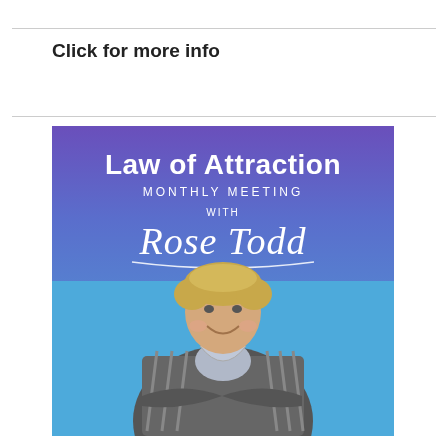Click for more info
[Figure (illustration): Promotional poster for Law of Attraction Monthly Meeting with Rose Todd. Purple-to-blue gradient background with white text 'Law of Attraction' in bold, 'MONTHLY MEETING' in spaced caps, 'with' in small text, 'Rose Todd' in cursive script with underline flourish. Below the text is a smiling middle-aged woman with short blonde hair, wearing a striped cardigan and scarf, arms crossed.]